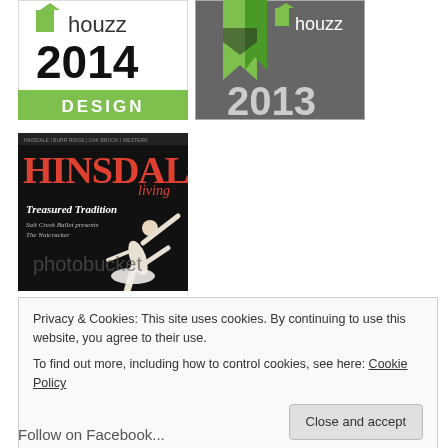[Figure (logo): Houzz 2014 Design badge - white background with green Houzz logo, large '2014' text, and green 'DESIGN' footer bar]
[Figure (logo): Houzz 2013 badge - grey/dark background with Houzz logo, bookmark ribbon shapes, and '2013' text]
[Figure (photo): Hinsdale Living magazine cover featuring a ballet dancer in white costume on dark background, with red HINSDALE text and 'living' subtitle. Text reads 'Treasured Tradition' and 'Salt Creek Ballet presents / The Nutcracker']
Privacy & Cookies: This site uses cookies. By continuing to use this website, you agree to their use.
To find out more, including how to control cookies, see here: Cookie Policy
Close and accept
Follow on Facebook...